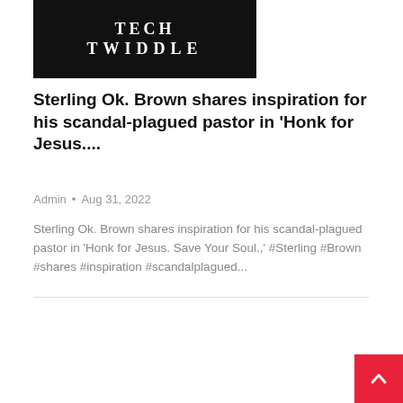[Figure (logo): Tech Twiddle website logo — black background with white text 'TECH TWIDDLE' in serif font]
Sterling Ok. Brown shares inspiration for his scandal-plagued pastor in ‘Honk for Jesus....
Admin • Aug 31, 2022
Sterling Ok. Brown shares inspiration for his scandal-plagued pastor in ‘Honk for Jesus. Save Your Soul.’ #Sterling #Brown #shares #inspiration #scandalplagued...
[Figure (other): Scroll-to-top button — red square with white upward arrow]